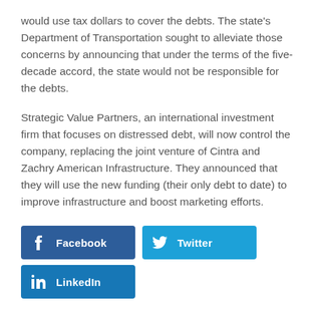would use tax dollars to cover the debts. The state's Department of Transportation sought to alleviate those concerns by announcing that under the terms of the five-decade accord, the state would not be responsible for the debts.
Strategic Value Partners, an international investment firm that focuses on distressed debt, will now control the company, replacing the joint venture of Cintra and Zachry American Infrastructure. They announced that they will use the new funding (their only debt to date) to improve infrastructure and boost marketing efforts.
[Figure (other): Social sharing buttons: Facebook (dark blue), Twitter (light blue), LinkedIn (medium blue)]